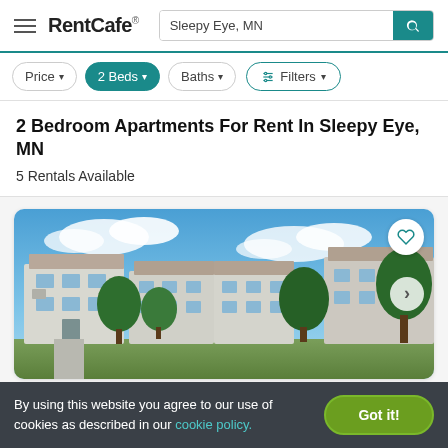RentCafe — Search: Sleepy Eye, MN
2 Bedroom Apartments For Rent In Sleepy Eye, MN
5 Rentals Available
[Figure (photo): Exterior photo of apartment complex with white/grey siding, multiple units, green trees, and blue sky with clouds. Heart/favorite icon in top-right corner. Right arrow navigation button.]
By using this website you agree to our use of cookies as described in our cookie policy.